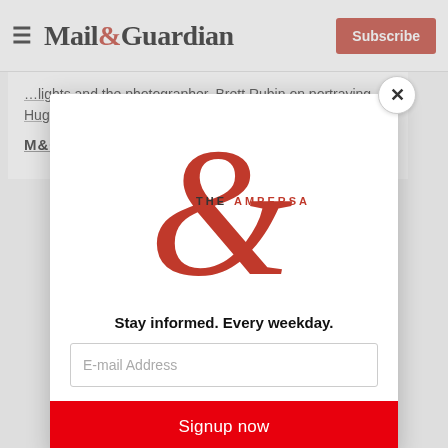Mail&Guardian | Subscribe
…lights and the photographer. Brett Rubin on portraying Hugh...
M&G PREMIUM
[Figure (logo): The Ampersand newsletter logo — large red ampersand with 'THE AMPERSAND' text]
Stay informed. Every weekday.
E-mail Address
Signup now